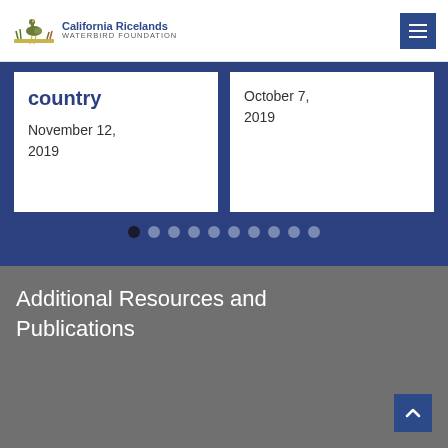California Ricelands Waterbird Foundation
country
November 12, 2019
October 7, 2019
Additional Resources and Publications